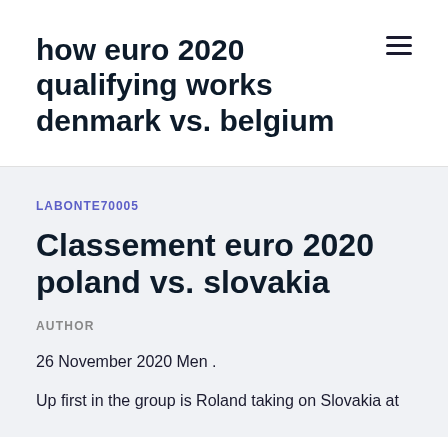how euro 2020 qualifying works denmark vs. belgium
LABONTE70005
Classement euro 2020 poland vs. slovakia
AUTHOR
26 November 2020 Men .
Up first in the group is Roland taking on Slovakia at